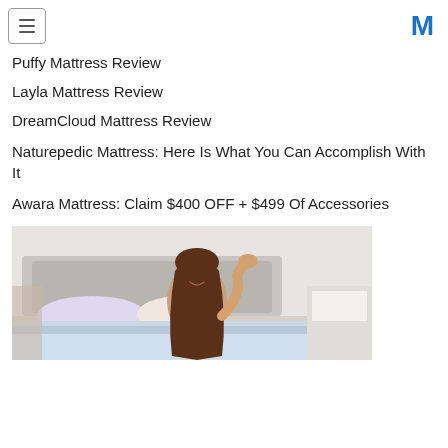Page header with hamburger menu and M logo
Puffy Mattress Review
Layla Mattress Review
DreamCloud Mattress Review
Naturepedic Mattress: Here Is What You Can Accomplish With It
Awara Mattress: Claim $400 OFF + $499 Of Accessories
[Figure (photo): A young girl with long brown hair, smiling, sitting on a bed with pillows and bedding around her, wearing a red top.]